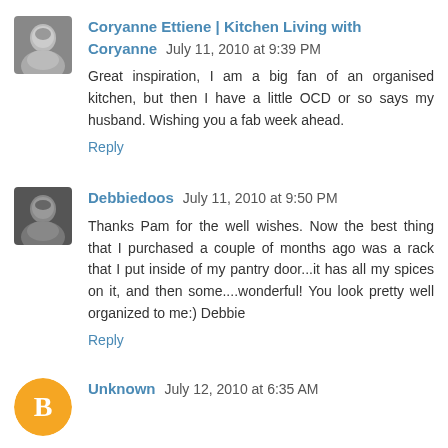Coryanne Ettiene | Kitchen Living with Coryanne July 11, 2010 at 9:39 PM
Great inspiration, I am a big fan of an organised kitchen, but then I have a little OCD or so says my husband. Wishing you a fab week ahead.
Reply
Debbiedoos July 11, 2010 at 9:50 PM
Thanks Pam for the well wishes. Now the best thing that I purchased a couple of months ago was a rack that I put inside of my pantry door...it has all my spices on it, and then some....wonderful! You look pretty well organized to me:) Debbie
Reply
Unknown July 12, 2010 at 6:35 AM